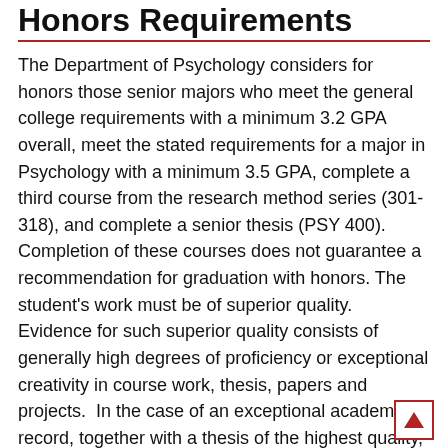Honors Requirements
The Department of Psychology considers for honors those senior majors who meet the general college requirements with a minimum 3.2 GPA overall, meet the stated requirements for a major in Psychology with a minimum 3.5 GPA, complete a third course from the research method series (301-318), and complete a senior thesis (PSY 400). Completion of these courses does not guarantee a recommendation for graduation with honors. The student’s work must be of superior quality. Evidence for such superior quality consists of generally high degrees of proficiency or exceptional creativity in course work, thesis, papers and projects.  In the case of an exceptional academic record, together with a thesis of the highest quality, the department may confer high honors.